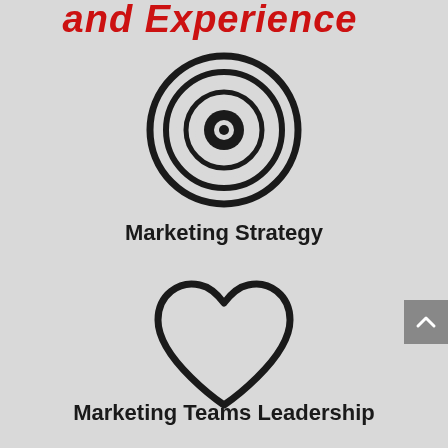and Experience
[Figure (illustration): Target/bullseye icon with concentric circles, dark outline on light grey background]
Marketing Strategy
[Figure (illustration): Heart icon with dark outline on light grey background]
Marketing Teams Leadership